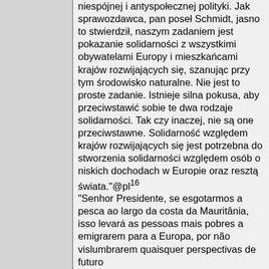niespójnej i antyspołecznej polityki. Jak sprawozdawca, pan poseł Schmidt, jasno to stwierdził, naszym zadaniem jest pokazanie solidarności z wszystkimi obywatelami Europy i mieszkańcami krajów rozwijających się, szanując przy tym środowisko naturalne. Nie jest to proste zadanie. Istnieje silna pokusa, aby przeciwstawić sobie te dwa rodzaje solidarności. Tak czy inaczej, nie są one przeciwstawne. Solidarność względem krajów rozwijających się jest potrzebna do stworzenia solidarności względem osób o niskich dochodach w Europie oraz resztą świata."@pl¹⁶
"Senhor Presidente, se esgotarmos a pesca ao largo da costa da Mauritânia, isso levará as pessoas mais pobres a emigrarem para a Europa, por não vislumbrarem quaisquer perspectivas de futuro